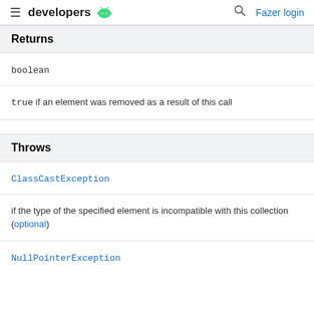developers [Android logo] [search icon] Fazer login
Returns
boolean
true if an element was removed as a result of this call
Throws
ClassCastException
if the type of the specified element is incompatible with this collection (optional)
NullPointerException